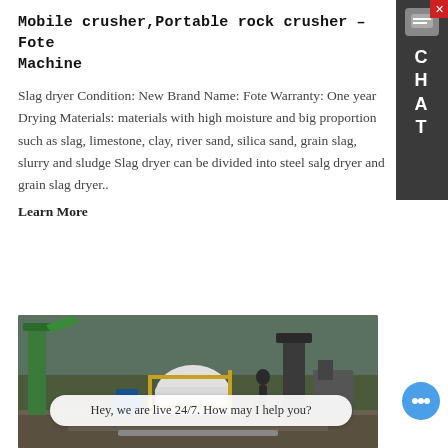Mobile crusher,Portable rock crusher - Fote Machine
Slag dryer Condition: New Brand Name: Fote Warranty: One year Drying Materials: materials with high moisture and big proportion such as slag, limestone, clay, river sand, silica sand, grain slag, slurry and sludge Slag dryer can be divided into steel salg dryer and grain slag dryer..
Learn More
[Figure (photo): Industrial mobile crusher / portable rock crusher equipment on a construction or mining site, showing heavy machinery with green conveyors, metal framework, and a worker in the background.]
Hey, we are live 24/7. How may I help you?